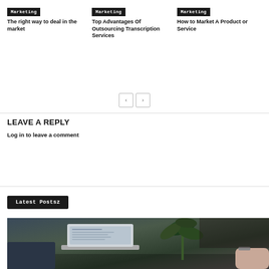Marketing
The right way to deal in the market
Marketing
Top Advantages Of Outsourcing Transcription Services
Marketing
How to Market A Product or Service
LEAVE A REPLY
Log in to leave a comment
Latest Postsz
[Figure (photo): Photo of a laptop on a desk with a green plant in the background]